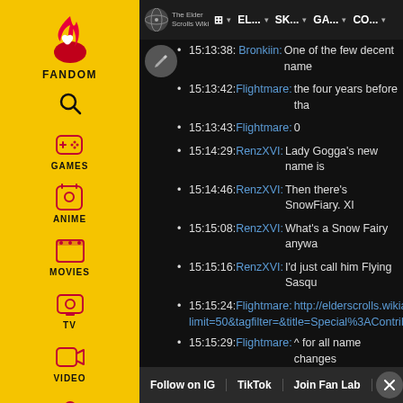[Figure (screenshot): Fandom wiki sidebar with yellow background showing navigation icons: Fandom logo (flame), search, Games, Anime, Movies, TV, Video, and user profile icon]
[Figure (screenshot): The Elder Scrolls Wiki top navigation bar with wiki globe logo and navigation items: Pac-Man icon, EL..., SK..., GA..., CO...]
15:13:38: Bronkiin: One of the few decent name
15:13:42: Flightmare: the four years before tha
15:13:43: Flightmare: 0
15:14:29: RenzXVI: Lady Gogga's new name is
15:14:46: RenzXVI: Then there's SnowFiary. XI
15:15:08: RenzXVI: What's a Snow Fairy anywa
15:15:16: RenzXVI: I'd just call him Flying Sasqu
15:15:24: Flightmare: http://elderscrolls.wikia.c limit=50&tagfilter=&title=Special%3AContribu
15:15:29: Flightmare: ^ for all name changes
15:16:16: Flightmare: And new users in general
15:16:28: Flightmare: That have been active o
15:16:35: Flightmare: for at least 1 edit
15:16:40: RenzXVI: REPTILE changes names a
15:16:41: Bronkiin: Foxy's had another name c
15.
Follow on IG | TikTok | Join Fan Lab | X (close)